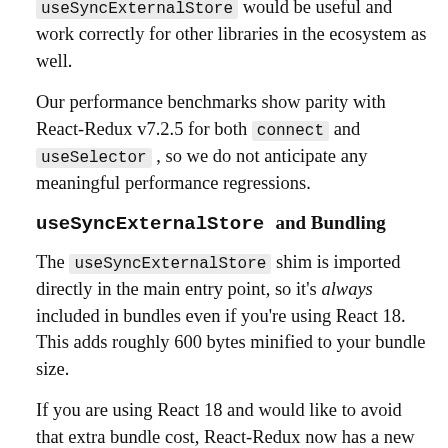useSyncExternalStore would be useful and work correctly for other libraries in the ecosystem as well.
Our performance benchmarks show parity with React-Redux v7.2.5 for both connect and useSelector , so we do not anticipate any meaningful performance regressions.
useSyncExternalStore and Bundling
The useSyncExternalStore shim is imported directly in the main entry point, so it's always included in bundles even if you're using React 18. This adds roughly 600 bytes minified to your bundle size.
If you are using React 18 and would like to avoid that extra bundle cost, React-Redux now has a new /next entry point. This exports the exact same APIs, but directly imports useSyncExternalStore from React itself, and thus avoids including the shim. You